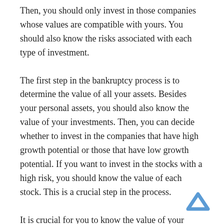Then, you should only invest in those companies whose values are compatible with yours. You should also know the risks associated with each type of investment.
The first step in the bankruptcy process is to determine the value of all your assets. Besides your personal assets, you should also know the value of your investments. Then, you can decide whether to invest in the companies that have high growth potential or those that have low growth potential. If you want to invest in the stocks with a high risk, you should know the value of each stock. This is a crucial step in the process.
It is crucial for you to know the value of your investments. It is important to understand the